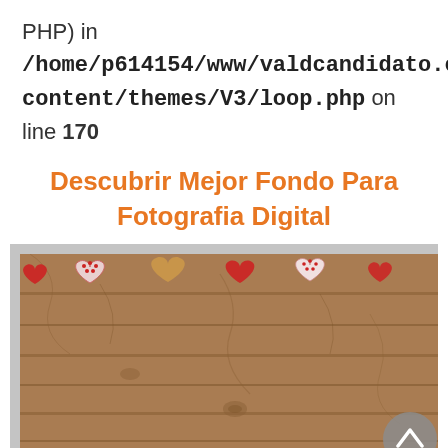PHP) in /home/p614154/www/valdcandidato.com/wp-content/themes/V3/loop.php on line 170
Descubrir Mejor Fondo Para Fotografia Digital
[Figure (photo): Wooden plank background with decorative fabric hearts (red, white, and natural wood colored) hung along the top edge. A circular grey scroll-to-top button appears in the lower right corner.]